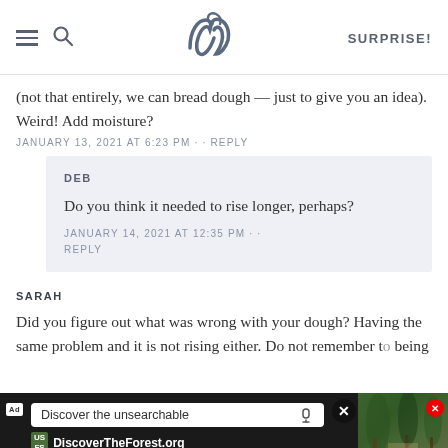SK — SURPRISE!
(not that entirely, we can bread dough – just to give you an idea). Weird! Add moisture?
JANUARY 13, 2021 AT 6:23 PM · · REPLY
DEB
Do you think it needed to rise longer, perhaps?
JANUARY 14, 2021 AT 12:35 PM · · REPLY
SARAH
Did you figure out what was wrong with your dough? Having the same problem and it is not rising either. Do not remember to being
[Figure (screenshot): Advertisement banner for DiscoverTheForest.org showing search bar with text 'Discover the unsearchable' and forest photo]